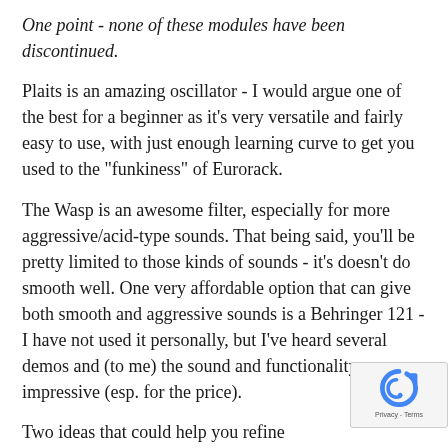One point - none of these modules have been discontinued.
Plaits is an amazing oscillator - I would argue one of the best for a beginner as it's very versatile and fairly easy to use, with just enough learning curve to get you used to the "funkiness" of Eurorack.
The Wasp is an awesome filter, especially for more aggressive/acid-type sounds. That being said, you'll be pretty limited to those kinds of sounds - it's doesn't do smooth well. One very affordable option that can give both smooth and aggressive sounds is a Behringer 121 - I have not used it personally, but I've heard several demos and (to me) the sound and functionality are very impressive (esp. for the price).
Two ideas that could help you refine further: (1), look at the setups of simple modular systems that produce sounds y on YouTube and use them as starting points; (2), give V Rack a try. It's a free, open-source eurorack system for the